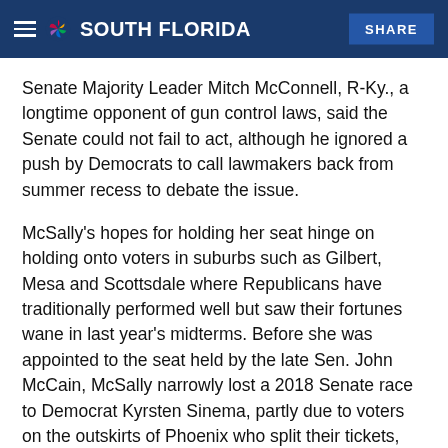NBC 6 SOUTH FLORIDA | SHARE
Senate Majority Leader Mitch McConnell, R-Ky., a longtime opponent of gun control laws, said the Senate could not fail to act, although he ignored a push by Democrats to call lawmakers back from summer recess to debate the issue.
McSally's hopes for holding her seat hinge on holding onto voters in suburbs such as Gilbert, Mesa and Scottsdale where Republicans have traditionally performed well but saw their fortunes wane in last year's midterms. Before she was appointed to the seat held by the late Sen. John McCain, McSally narrowly lost a 2018 Senate race to Democrat Kyrsten Sinema, partly due to voters on the outskirts of Phoenix who split their tickets, voting for both Sinema and Republican Gov. Doug Ducey.